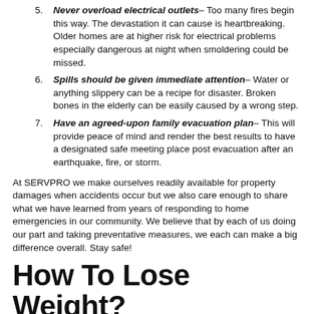Never overload electrical outlets– Too many fires begin this way. The devastation it can cause is heartbreaking. Older homes are at higher risk for electrical problems especially dangerous at night when smoldering could be missed.
Spills should be given immediate attention– Water or anything slippery can be a recipe for disaster. Broken bones in the elderly can be easily caused by a wrong step.
Have an agreed-upon family evacuation plan– This will provide peace of mind and render the best results to have a designated safe meeting place post evacuation after an earthquake, fire, or storm.
At SERVPRO we make ourselves readily available for property damages when accidents occur but we also care enough to share what we have learned from years of responding to home emergencies in our community. We believe that by each of us doing our part and taking preventative measures, we each can make a big difference overall. Stay safe!
How To Lose Weight?